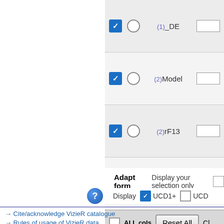[Figure (screenshot): VizieR form interface showing four rows with blue checkboxes, radio buttons, column labels (1)_DE, (2)Model, (2)rF13, (2)rT13, text input fields, followed by an ALL cols row with Reset All and Cle buttons, Adapt form section with Display your selection only, Display UCD1+ UCD checkboxes, help icon, and footer links.]
(1) _DE
(2) Model
(2) rF13
(2) rT13
ALL cols
Reset All
Adapt form
Display your selection only
Display  UCD1+  UCD
→ Cite/acknowledge VizieR catalogue
→ Rules of usage of VizieR data
© Université de Strasbourg/CNRS